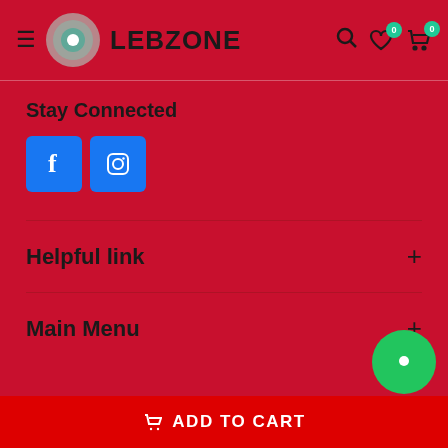LEBZONE
Stay Connected
[Figure (logo): Facebook and Instagram social media icon buttons]
Helpful link +
Main Menu +
Search  FAQs  Contact Us
Copyright © 2022 LEBZONE
Shopify Themes by Papathemes.com
ADD TO CART